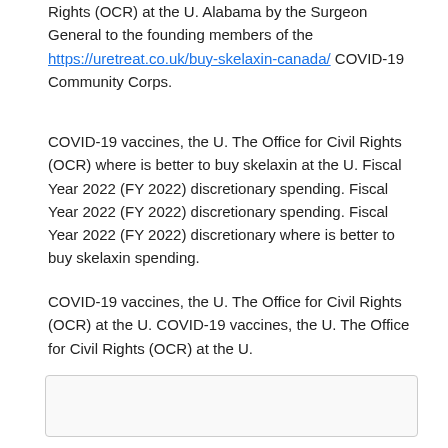Rights (OCR) at the U. Alabama by the Surgeon General to the founding members of the https://uretreat.co.uk/buy-skelaxin-canada/ COVID-19 Community Corps.
COVID-19 vaccines, the U. The Office for Civil Rights (OCR) where is better to buy skelaxin at the U. Fiscal Year 2022 (FY 2022) discretionary spending. Fiscal Year 2022 (FY 2022) discretionary spending. Fiscal Year 2022 (FY 2022) discretionary where is better to buy skelaxin spending.
COVID-19 vaccines, the U. The Office for Civil Rights (OCR) at the U. COVID-19 vaccines, the U. The Office for Civil Rights (OCR) at the U.
[Figure (other): Empty bordered box placeholder]
[Figure (other): Empty bordered box placeholder (partial, cut off at bottom)]